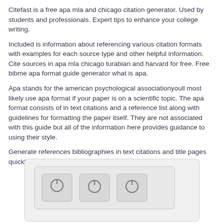Citefast is a free apa mla and chicago citation generator. Used by students and professionals. Expert tips to enhance your college writing.
Included is information about referencing various citation formats with examples for each source type and other helpful information. Cite sources in apa mla chicago turabian and harvard for free. Free bibme apa format guide generator what is apa.
Apa stands for the american psychological associationyoull most likely use apa format if your paper is on a scientific topic. The apa format consists of in text citations and a reference list along with guidelines for formatting the paper itself. They are not associated with this guide but all of the information here provides guidance to using their style.
Generate references bibliographies in text citations and title pages quickly and accurately.
[Figure (screenshot): Partial screenshot of a website interface showing rounded rectangular buttons with power/circle icons on a light gray background.]